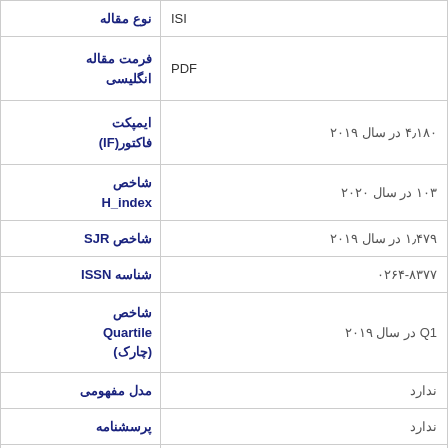| مقدار | فیلد |
| --- | --- |
| ISI | نوع مقاله |
| PDF
انگلیسی | فرمت مقاله |
| ۴٫۱۸۰ در سال ۲۰۱۹ | ایمپکت فاکتور(IF) |
| ۱۰۳ در سال ۲۰۲۰ | شاخص H_index |
| ۱٫۴۷۹ در سال ۲۰۱۹ | شاخص SJR |
| ۰۲۶۴-۸۳۷۷ | شناسه ISSN |
| Q1 در سال ۲۰۱۹ | شاخص Quartile (چارک) |
| ندارد | مدل مفهومی |
| ندارد | پرسشنامه |
| ندارد | متغیر |